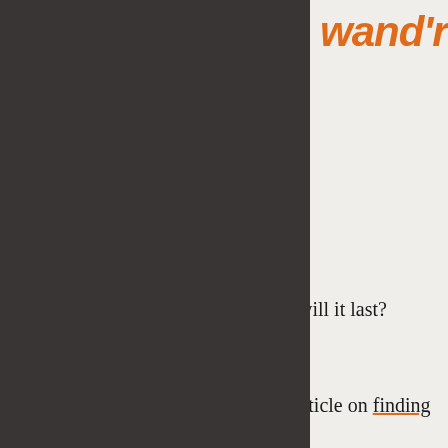wand'rly
Blogs
Top Guides
Handbooks
Places to Go
Meet Travelers
Roadschooling
About
Login
people you’ll meet! How long will it last?
As to your questions…
We just so happen to have an article on finding and choosing the right RV…